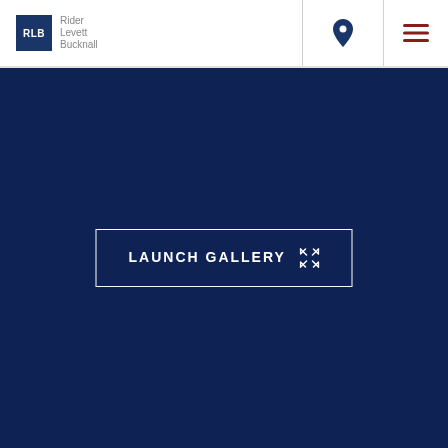[Figure (logo): Rider Levett Bucknall logo with navy blue RLB square and gray text]
[Figure (illustration): Navy blue map/location pin icon]
[Figure (illustration): Crimson hamburger menu icon (three horizontal lines)]
[Figure (illustration): Large dark navy blue background area]
LAUNCH GALLERY